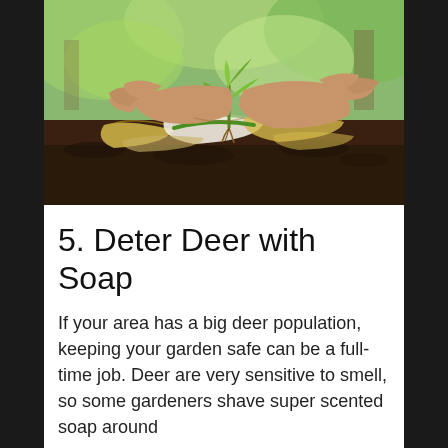[Figure (photo): Hands cradling a small green seedling plant above dark soil with banana peels and organic compost scraps, with blurred green trees in background.]
5. Deter Deer with Soap
If your area has a big deer population, keeping your garden safe can be a full-time job. Deer are very sensitive to smell, so some gardeners shave super scented soap around